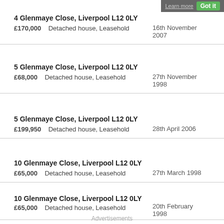4 Glenmaye Close, Liverpool L12 0LY | £170,000 | Detached house, Leasehold | 16th November 2007
5 Glenmaye Close, Liverpool L12 0LY | £68,000 | Detached house, Leasehold | 27th November 1998
5 Glenmaye Close, Liverpool L12 0LY | £199,950 | Detached house, Leasehold | 28th April 2006
10 Glenmaye Close, Liverpool L12 0LY | £65,000 | Detached house, Leasehold | 27th March 1998
10 Glenmaye Close, Liverpool L12 0LY | £65,000 | Detached house, Leasehold | 20th February 1998
Advertisements